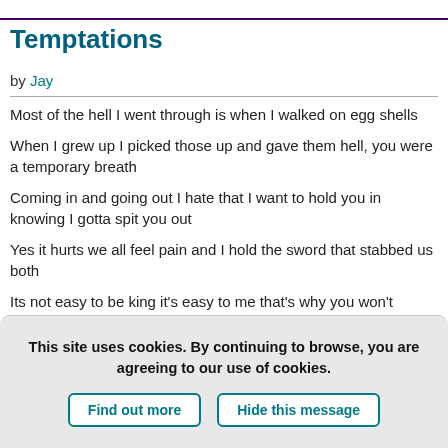Temptations
by Jay
Most of the hell I went through is when I walked on egg shells
When I grew up I picked those up and gave them hell, you were a temporary breath
Coming in and going out I hate that I want to hold you in knowing I gotta spit you out
Yes it hurts we all feel pain and I hold the sword that stabbed us both
Its not easy to be king it's easy to me that's why you won't understand
To sub...
This site uses cookies. By continuing to browse, you are agreeing to our use of cookies.
Find out more
Hide this message